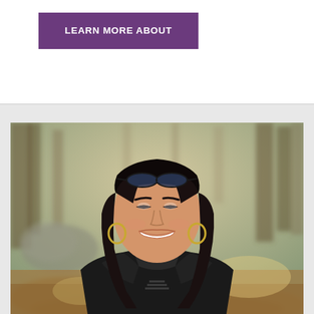LEARN MORE ABOUT
[Figure (photo): Portrait photo of an Asian woman with long dark hair, sunglasses on top of her head, wearing a black jacket, smiling broadly. Background shows a blurred outdoor forest/park setting with trees and fallen leaves on the ground. She is wearing gold hoop earrings.]